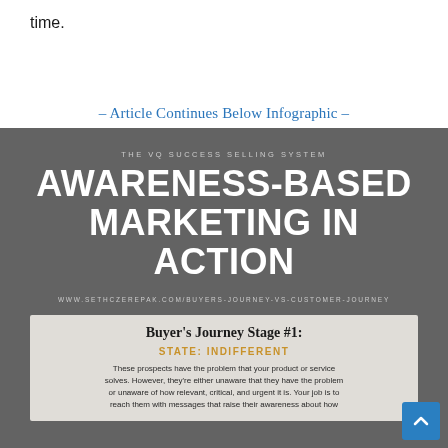time.
– Article Continues Below Infographic –
[Figure (infographic): Infographic titled 'Awareness-Based Marketing in Action' from The VQ Success Selling System. Shows Buyer's Journey Stage #1: State: Indifferent. Text: These prospects have the problem that your product or service solves. However, they're either unaware that they have the problem or unaware of how relevant, critical, and urgent it is. Your job is to reach them with messages that raise their awareness about how. URL: www.sethczerepak.com/buyers-journey-vs-customer-journey]